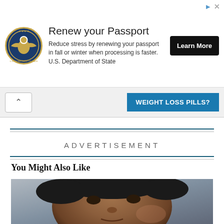[Figure (screenshot): U.S. Department of State passport renewal advertisement banner with eagle seal logo, title 'Renew your Passport', body text, and 'Learn More' button]
[Figure (screenshot): Secondary ad bar with collapse arrow button and 'WEIGHT LOSS PILLS?' blue button]
ADVERTISEMENT
You Might Also Like
[Figure (photo): Close-up photograph of a man with dark skin and short dark hair, appearing emotional or distressed, wearing a red garment]